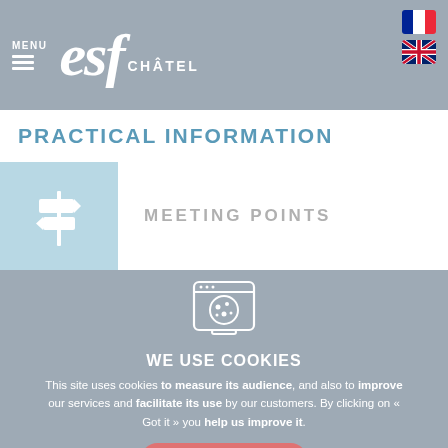MENU | esf CHÂTEL
PRACTICAL INFORMATION
MEETING POINTS
[Figure (illustration): Cookie consent icon: browser window with a cookie graphic]
WE USE COOKIES
This site uses cookies to measure its audience, and also to improve our services and facilitate its use by our customers. By clicking on « Got it » you help us improve it.
GOT IT
Learn more